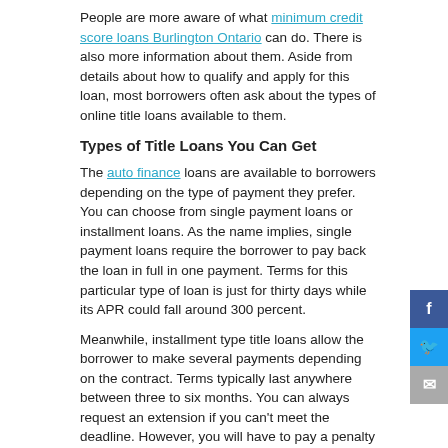People are more aware of what minimum credit score loans Burlington Ontario can do. There is also more information about them. Aside from details about how to qualify and apply for this loan, most borrowers often ask about the types of online title loans available to them.
Types of Title Loans You Can Get
The auto finance loans are available to borrowers depending on the type of payment they prefer. You can choose from single payment loans or installment loans. As the name implies, single payment loans require the borrower to pay back the loan in full in one payment. Terms for this particular type of loan is just for thirty days while its APR could fall around 300 percent.
Meanwhile, installment type title loans allow the borrower to make several payments depending on the contract. Terms typically last anywhere between three to six months. You can always request an extension if you can't meet the deadline. However, you will have to pay a penalty and expect your interest rate to go up. Your APR for this kind of loan will be around 250 percent. These loans are open to all types of collateral. While cars are the most commonly used, you can also utilize SUVs, RVs, trucks, and motorcycles.